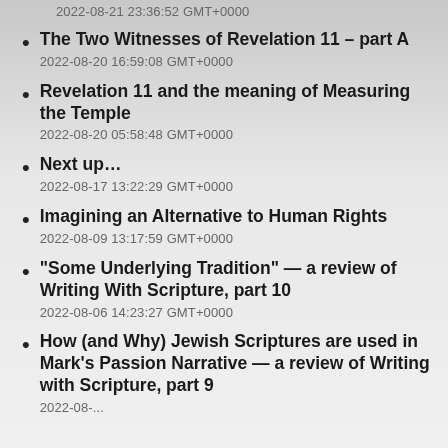2022-08-21 23:36:52 GMT+0000
The Two Witnesses of Revelation 11 – part A
2022-08-20 16:59:08 GMT+0000
Revelation 11 and the meaning of Measuring the Temple
2022-08-20 05:58:48 GMT+0000
Next up…
2022-08-17 13:22:29 GMT+0000
Imagining an Alternative to Human Rights
2022-08-09 13:17:59 GMT+0000
“Some Underlying Tradition” — a review of Writing With Scripture, part 10
2022-08-06 14:23:27 GMT+0000
How (and Why) Jewish Scriptures are used in Mark’s Passion Narrative — a review of Writing with Scripture, part 9
2022-08-...